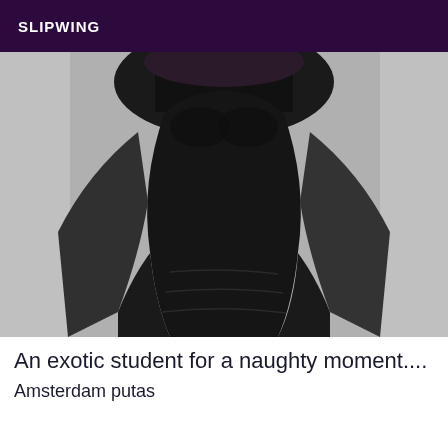SLIPWING
[Figure (photo): Black and white close-up photo of a person's torso wearing a tight black dress, showing a curved waistline against a grey background]
An exotic student for a naughty moment....
Amsterdam putas